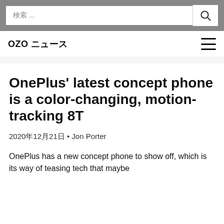검색 ...
OZO ニュース
OnePlus' latest concept phone is a color-changing, motion-tracking 8T
2020年12月21日 • Jon Porter
OnePlus has a new concept phone to show off, which is its way of teasing tech that maybe